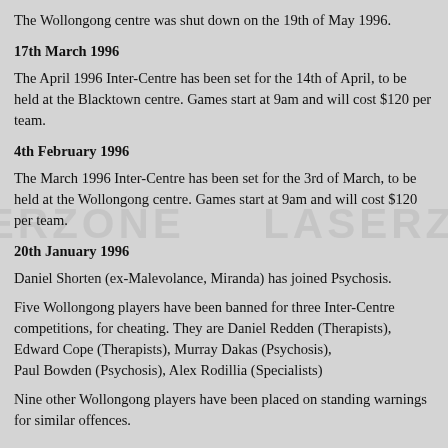The Wollongong centre was shut down on the 19th of May 1996.
17th March 1996
The April 1996 Inter-Centre has been set for the 14th of April, to be held at the Blacktown centre. Games start at 9am and will cost $120 per team.
4th February 1996
The March 1996 Inter-Centre has been set for the 3rd of March, to be held at the Wollongong centre. Games start at 9am and will cost $120 per team.
20th January 1996
Daniel Shorten (ex-Malevolance, Miranda) has joined Psychosis.
Five Wollongong players have been banned for three Inter-Centre competitions, for cheating. They are Daniel Redden (Therapists), Edward Cope (Therapists), Murray Dakas (Psychosis), Paul Bowden (Psychosis), Alex Rodillia (Specialists)
Nine other Wollongong players have been placed on standing warnings for similar offences.